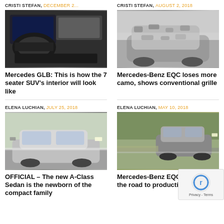CRISTI STEFAN, DECEMBER 2...
[Figure (photo): Mercedes GLB interior with steering wheel, digital dashboard, and test equipment visible]
Mercedes GLB: This is how the 7 seater SUV's interior will look like
CRISTI STEFAN, AUGUST 2, 2018
[Figure (photo): Mercedes-Benz EQC SUV prototype with camouflage wrap on road]
Mercedes-Benz EQC loses more camo, shows conventional grille
ELENA LUCHIAN, JULY 25, 2018
[Figure (photo): Mercedes A-Class Sedan driving on road with trees in background]
OFFICIAL – The new A-Class Sedan is the newborn of the compact family
ELENA LUCHIAN, MAY 10, 2018
[Figure (photo): Mercedes-Benz EQC prototype testing on road with trees in background]
Mercedes-Benz EQC Testing on the road to production